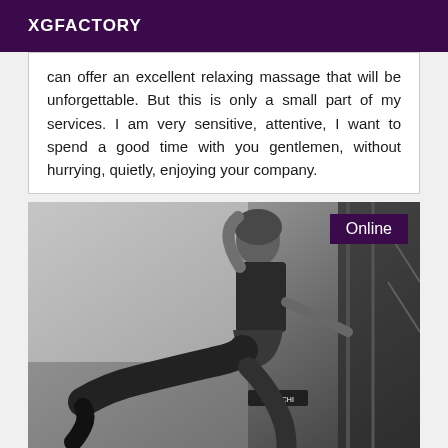XGFACTORY
can offer an excellent relaxing massage that will be unforgettable. But this is only a small part of my services. I am very sensitive, attentive, I want to spend a good time with you gentlemen, without hurrying, quietly, enjoying your company.
[Figure (photo): Black and white photo of a woman wearing a black tank top, leather skirt, and thigh-high boots, seated on a surface with metal bars/railing in the background. An 'Online' badge appears in the top right corner of the image.]